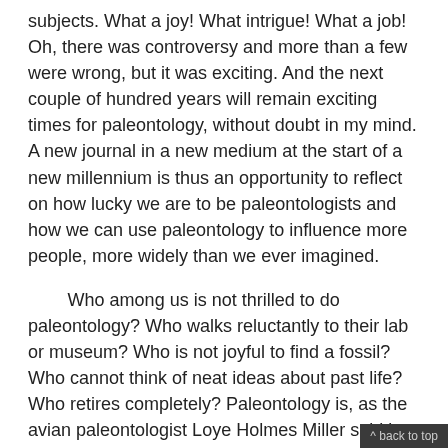subjects. What a joy! What intrigue! What a job! Oh, there was controversy and more than a few were wrong, but it was exciting. And the next couple of hundred years will remain exciting times for paleontology, without doubt in my mind. A new journal in a new medium at the start of a new millennium is thus an opportunity to reflect on how lucky we are to be paleontologists and how we can use paleontology to influence more people, more widely than we ever imagined.
Who among us is not thrilled to do paleontology? Who walks reluctantly to their lab or museum? Who is not joyful to find a fossil? Who cannot think of neat ideas about past life? Who retires completely? Paleontology is, as the avian paleontologist Loye Holmes Miller said in reference to his own career, "Lifelong Boyhood". That career, as with many of us, began as a child tracking down birds and fossils and ended only with death at age 96. So many paleontologists go that way, thinking about one fossil or another to the very end. In a time when 80% of the working public is unhappy with their jobs, we in paleontology are fortunate! Scientists in general are pretty happy people, but I think we have it better than